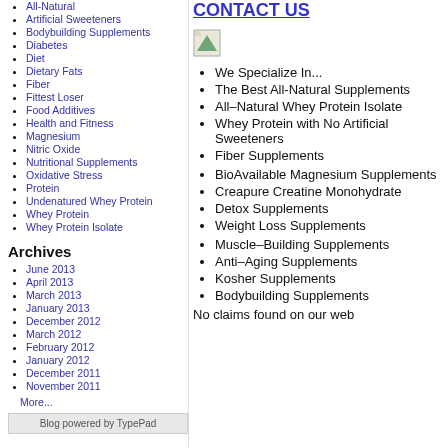All-Natural
Artificial Sweeteners
Bodybuilding Supplements
Diabetes
Diet
Dietary Fats
Fiber
Fittest Loser
Food Additives
Health and Fitness
Magnesium
Nitric Oxide
Nutritional Supplements
Oxidative Stress
Protein
Undenatured Whey Protein
Whey Protein
Whey Protein Isolate
Archives
June 2013
April 2013
March 2013
January 2013
December 2012
March 2012
February 2012
January 2012
December 2011
November 2011
More...
Blog powered by TypePad
CONTACT US
We Specialize In...
The Best All-Natural Supplements
All–Natural Whey Protein Isolate
Whey Protein with No Artificial Sweeteners
Fiber Supplements
BioAvailable Magnesium Supplements
Creapure Creatine Monohydrate
Detox Supplements
Weight Loss Supplements
Muscle–Building Supplements
Anti–Aging Supplements
Kosher Supplements
Bodybuilding Supplements
No claims found on our web